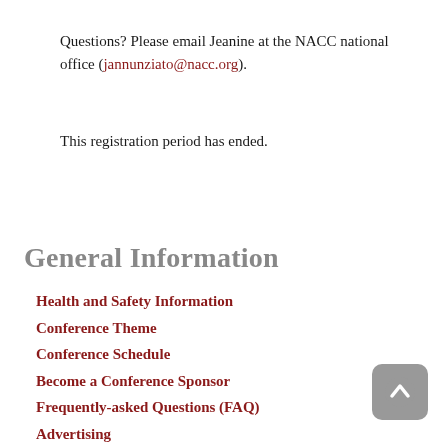Questions? Please email Jeanine at the NACC national office (jannunziato@nacc.org).
This registration period has ended.
General Information
Health and Safety Information
Conference Theme
Conference Schedule
Become a Conference Sponsor
Frequently-asked Questions (FAQ)
Advertising
Conference Charity: Response to Love Center